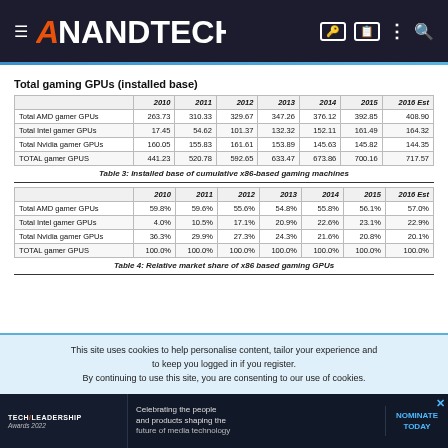AnandTech
Total gaming GPUs (installed base)
|  | 2010 | 2011 | 2012 | 2013 | 2014 | 2015 | 2016 Est |
| --- | --- | --- | --- | --- | --- | --- | --- |
| Total AMD gamer GPUs | 263.73 | 310.33 | 329.67 | 347.26 | 376.12 | 392.85 | 408.90 |
| Total Intel gamer GPUs | 17.45 | 54.62 | 101.37 | 132.32 | 152.11 | 161.49 | 164.32 |
| Total Nvidia gamer GPUs | 160.05 | 155.83 | 161.61 | 153.89 | 145.63 | 145.82 | 144.35 |
| TOTAL gamer GPUS | 441.23 | 520.78 | 592.65 | 633.47 | 673.86 | 700.16 | 717.57 |
Table 3: Installed base of cumulative x86-based gaming machines
|  | 2010 | 2011 | 2012 | 2013 | 2014 | 2015 | 2016 Est |
| --- | --- | --- | --- | --- | --- | --- | --- |
| Total AMD gamer GPUs | 59.8% | 59.6% | 55.6% | 54.8% | 55.8% | 56.1% | 57.0% |
| Total Intel gamer GPUs | 4.0% | 10.5% | 17.1% | 20.9% | 22.6% | 23.1% | 22.9% |
| Total Nvidia gamer GPUs | 36.3% | 29.9% | 27.3% | 24.3% | 21.6% | 20.8% | 20.1% |
| TOTAL gamer GPUS | 100.0% | 100.0% | 100.0% | 100.0% | 100.0% | 100.0% | 100.0% |
Table 4: Relative market share of x86 based gaming GPUs
This site uses cookies to help personalise content, tailor your experience and to keep you logged in if you register.
By continuing to use this site, you are consenting to our use of cookies.
[Figure (advertisement): TechLeadership Awards 2022 ad: Celebrating the people and products shaping the future of media technology. Nominate Today.]